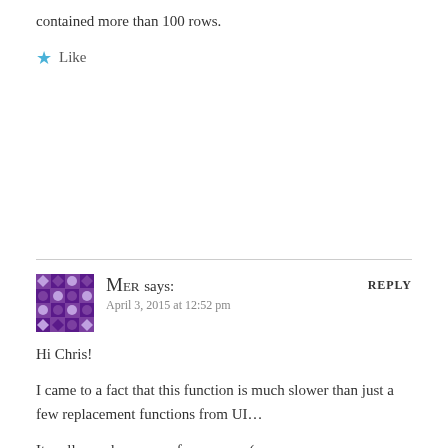contained more than 100 rows.
★ Like
MER says:
April 3, 2015 at 12:52 pm
REPLY
Hi Chris!
I came to a fact that this function is much slower than just a few replacement functions from UI…
It really crashes my performance. =(
Do you know any other alternatives for multiple replacements?
★ Like